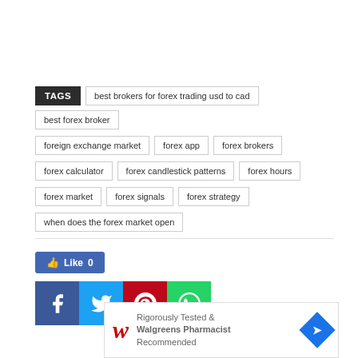TAGS  best brokers for forex trading usd to cad  best forex broker  foreign exchange market  forex app  forex brokers  forex calculator  forex candlestick patterns  forex hours  forex market  forex signals  forex strategy  when does the forex market open
[Figure (infographic): Social share buttons: Facebook Like (0), Facebook share, Twitter share, Pinterest share, WhatsApp share]
[Figure (infographic): Advertisement: Walgreens - Rigorously Tested & Walgreens Pharmacist Recommended, with W logo and blue diamond arrow icon]